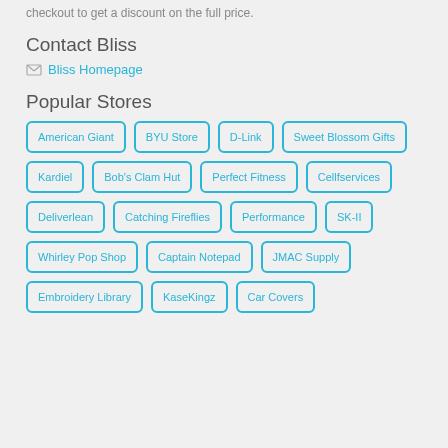checkout to get a discount on the full price.
Contact Bliss
Bliss Homepage
Popular Stores
American Giant
BYU Store
D-Link
Sweet Blossom Gifts
Kardiel
Bob's Clam Hut
Perfect Fitness
Cellfservices
Deliverlean
Catching Fireflies
Performance
SK-II
Whirley Pop Shop
Captain Notepad
JMAC Supply
Embroidery Library
KaseKingz
Car Covers